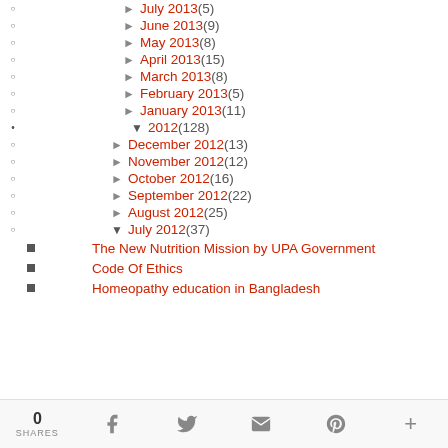► July 2013 (5)
► June 2013 (9)
► May 2013 (8)
► April 2013 (15)
► March 2013 (8)
► February 2013 (5)
► January 2013 (11)
▼ 2012 (128)
► December 2012 (13)
► November 2012 (12)
► October 2012 (16)
► September 2012 (22)
► August 2012 (25)
▼ July 2012 (37)
The New Nutrition Mission by UPA Government
Code Of Ethics
Homeopathy education in Bangladesh
0 SHARES